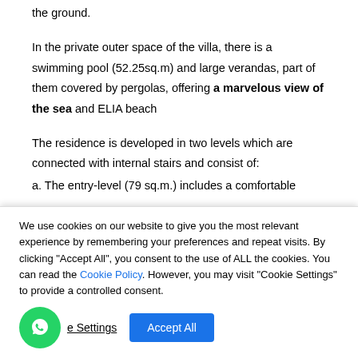the ground.
In the private outer space of the villa, there is a swimming pool (52.25sq.m) and large verandas, part of them covered by pergolas, offering a marvelous view of the sea and ELIA beach
The residence is developed in two levels which are connected with internal stairs and consist of:
a. The entry-level (79 sq.m.) includes a comfortable
We use cookies on our website to give you the most relevant experience by remembering your preferences and repeat visits. By clicking "Accept All", you consent to the use of ALL the cookies. You can read the Cookie Policy. However, you may visit "Cookie Settings" to provide a controlled consent.